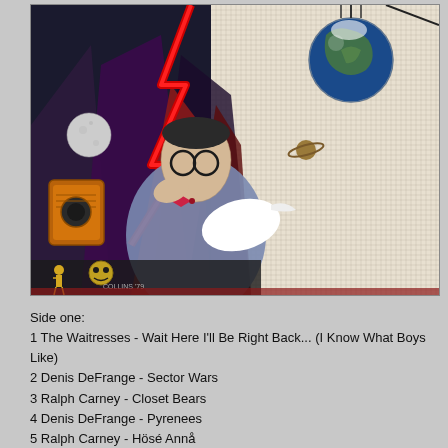[Figure (illustration): Album cover art showing a surreal sci-fi illustration with a man in glasses and bow tie in the center, surrounded by fantastical elements including a globe suspended by a cable in the upper right, red lightning bolts, mountains, UFOs, a moon, planets, and other surreal sci-fi imagery. The background on the right side has a fine grid pattern. Text 'COLLINS 79' visible at bottom left of illustration.]
Side one:
1 The Waitresses - Wait Here I'll Be Right Back... (I Know What Boys Like)
2 Denis DeFrange - Sector Wars
3 Ralph Carney - Closet Bears
4 Denis DeFrange - Pyrenees
5 Ralph Carney - Hösé Annå
6 Denis DeFrange - Bowling Balls Theme
Side two:
1 Ralph Carney and David Thomas - Sunset In Hibernia
2 Denis DeFrange and Mark Frazier - The Manikin Shuffle